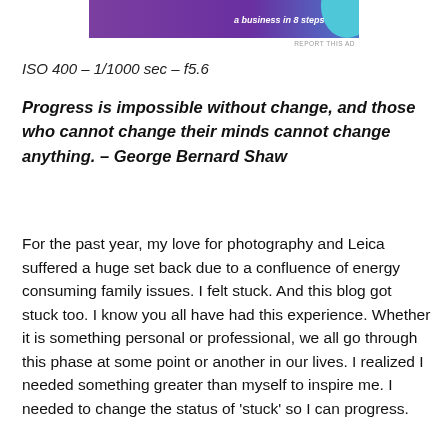[Figure (screenshot): Ad banner with purple gradient background and text 'a business in 8 steps' with teal accent]
REPORT THIS AD
ISO 400 – 1/1000 sec – f5.6
Progress is impossible without change, and those who cannot change their minds cannot change anything. – George Bernard Shaw
For the past year, my love for photography and Leica suffered a huge set back due to a confluence of energy consuming family issues. I felt stuck. And this blog got stuck too. I know you all have had this experience. Whether it is something personal or professional, we all go through this phase at some point or another in our lives. I realized I needed something greater than myself to inspire me. I needed to change the status of 'stuck' so I can progress.